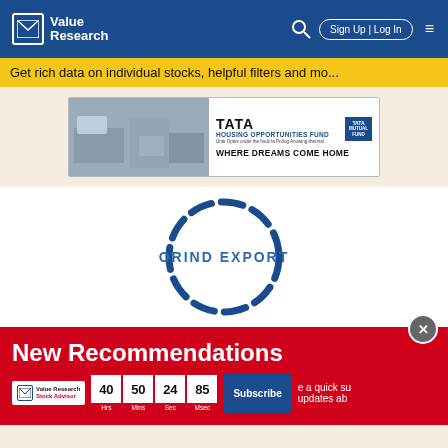Value Research — Sign Up | Log In
Get rich data on individual stocks, helpful filters and mo...
[Figure (other): TATA Housing Opportunities Fund advertisement banner — WHERE DREAMS COME HOME]
[Figure (logo): ORIND EXPORT company logo in circular dashed blue ring]
[Figure (infographic): New Recommendations popup banner from Value Research Stock Advisor with countdown timer showing 40 Hrs 50 Mins 24 Sec 85 Msec and Subscribe button]